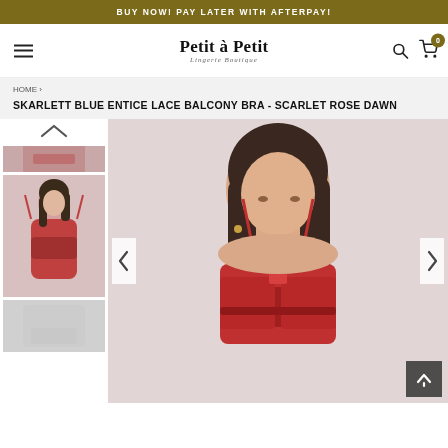BUY NOW! PAY LATER WITH AFTERPAY!
[Figure (screenshot): E-commerce website navigation bar with hamburger menu, 'Petit à Petit Lingerie Boutique' logo, search icon, and cart icon with badge showing 0]
HOME ›
SKARLETT BLUE ENTICE LACE BALCONY BRA - SCARLET ROSE DAWN
[Figure (photo): Product page showing a woman modeling a red lace balcony bra (Skarlett Blue Entice Lace Balcony Bra in Scarlet Rose Dawn), with thumbnail gallery on the left and main large image on the right. Navigation arrows visible on the main image.]